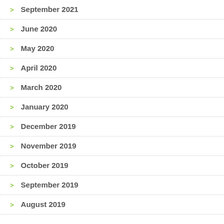September 2021
June 2020
May 2020
April 2020
March 2020
January 2020
December 2019
November 2019
October 2019
September 2019
August 2019